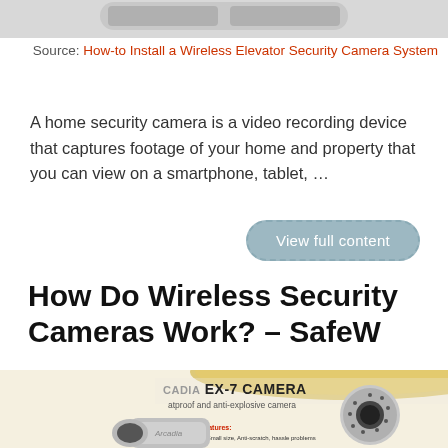[Figure (photo): Top portion of a wireless security camera product image, partially cropped at the top of the page]
Source: How-to Install a Wireless Elevator Security Camera System
A home security camera is a video recording device that captures footage of your home and property that you can view on a smartphone, tablet, …
View full content
How Do Wireless Security Cameras Work? – SafeW
[Figure (photo): Product image of ARCADIA EX-7 Camera, labeled as dustproof and anti-explosive camera, with EVE branding and UNBREAKABLE label, MODEL EX700 anti-explosive HD Camera 2.0 MP, Stainless Steel Explosion Proof Corrosion Resistant Camera]